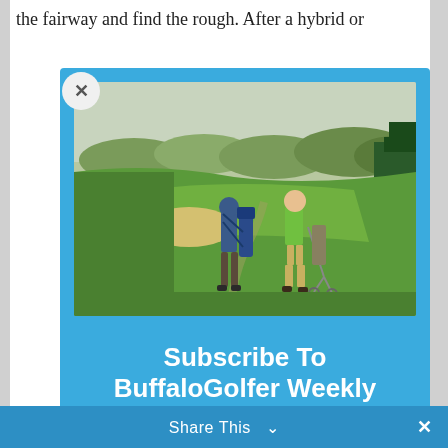the fairway and find the rough. After a hybrid or
[Figure (screenshot): A modal popup overlay on a golf article webpage. The modal has a blue background (#3aabde) and contains a photo of two golfers walking on a golf course fairway with trees and hills in the background, followed by text 'Subscribe To BuffaloGolfer Weekly' and subtitle 'If it's not your cup o' joe, you can unsubscribe later.' A close (X) button is in the top-left corner of the modal.]
Subscribe To BuffaloGolfer Weekly
If it's not your cup o' joe, you can unsubscribe later.
Share This  ∨